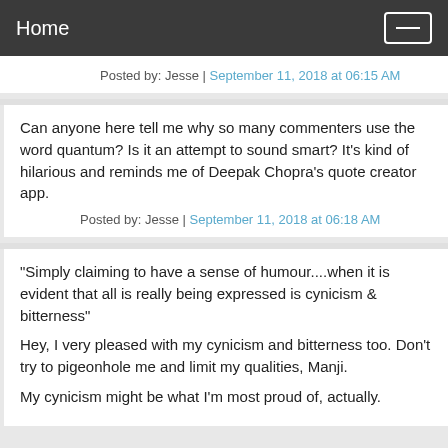Home
Posted by: Jesse | September 11, 2018 at 06:15 AM
Can anyone here tell me why so many commenters use the word quantum? Is it an attempt to sound smart? It's kind of hilarious and reminds me of Deepak Chopra's quote creator app.
Posted by: Jesse | September 11, 2018 at 06:18 AM
"Simply claiming to have a sense of humour....when it is evident that all is really being expressed is cynicism & bitterness"

Hey, I very pleased with my cynicism and bitterness too. Don't try to pigeonhole me and limit my qualities, Manji.

My cynicism might be what I'm most proud of, actually.